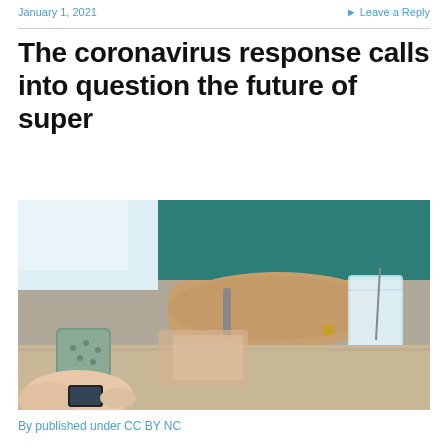January 1, 2021   ▸ Leave a Reply
The coronavirus response calls into question the future of super
[Figure (photo): Elderly person's hands resting on a table with a glass of water and a mug, another person's hands visible across the table]
By published under CC BY NC